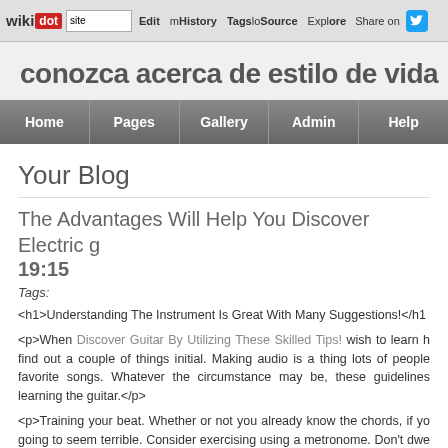wikidot | site | Edit | History | Tags | Source | Explore | Share on [Twitter]
conozca acerca de estilo de vida
Home | Pages | Gallery | Admin | Help
Your Blog
The Advantages Will Help You Discover Electric g
19:15
Tags:
<h1>Understanding The Instrument Is Great With Many Suggestions!</h1
<p>When Discover Guitar By Utilizing These Skilled Tips! wish to learn h find out a couple of things initial. Making audio is a thing lots of people favorite songs. Whatever the circumstance may be, these guidelines learning the guitar.</p>
<p>Training your beat. Whether or not you already know the chords, if yo going to seem terrible. Consider exercising using a metronome. Don't dwe hands and fingers are. That can cause you to type bad habits. Concentrat